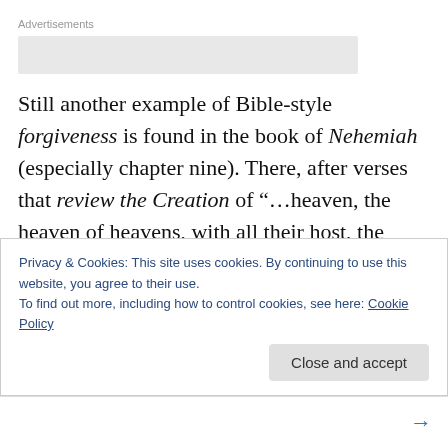Advertisements
Still another example of Bible-style forgiveness is found in the book of Nehemiah (especially chapter nine). There, after verses that review the Creation of “…heaven, the heaven of heavens, with all their host, the earth, and all things that are therein, the seas,” etc., the Creation-inspire sermon expands to feature the glory of Moses and the
Privacy & Cookies: This site uses cookies. By continuing to use this website, you agree to their use.
To find out more, including how to control cookies, see here: Cookie Policy
Close and accept